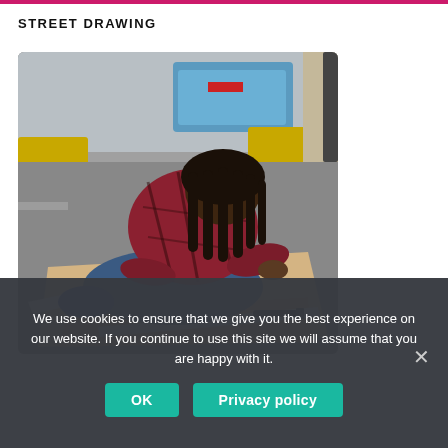STREET DRAWING
[Figure (photo): Person kneeling on the street on large sheets of cardboard, drawing with a marker. Urban setting with traffic barriers and bollards visible in the background.]
We use cookies to ensure that we give you the best experience on our website. If you continue to use this site we will assume that you are happy with it.
OK   Privacy policy